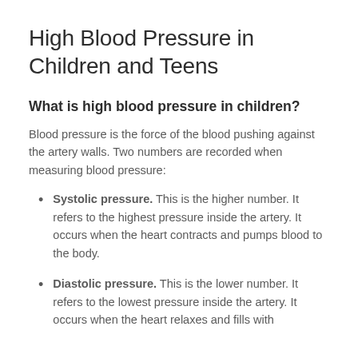High Blood Pressure in Children and Teens
What is high blood pressure in children?
Blood pressure is the force of the blood pushing against the artery walls. Two numbers are recorded when measuring blood pressure:
Systolic pressure. This is the higher number. It refers to the highest pressure inside the artery. It occurs when the heart contracts and pumps blood to the body.
Diastolic pressure. This is the lower number. It refers to the lowest pressure inside the artery. It occurs when the heart relaxes and fills with